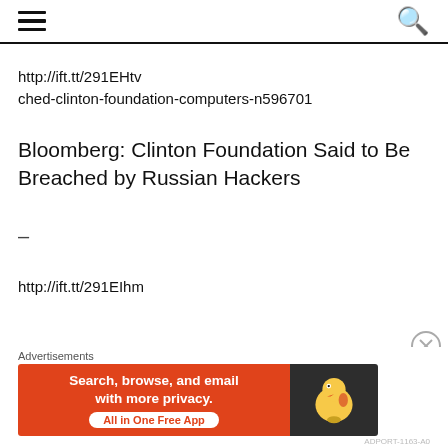[hamburger menu icon] [search icon]
http://ift.tt/291EHtv ched-clinton-foundation-computers-n596701
Bloomberg: Clinton Foundation Said to Be Breached by Russian Hackers
–
http://ift.tt/291EIhm
[Figure (screenshot): DuckDuckGo advertisement banner: 'Search, browse, and email with more privacy. All in One Free App' with DuckDuckGo logo on dark background]